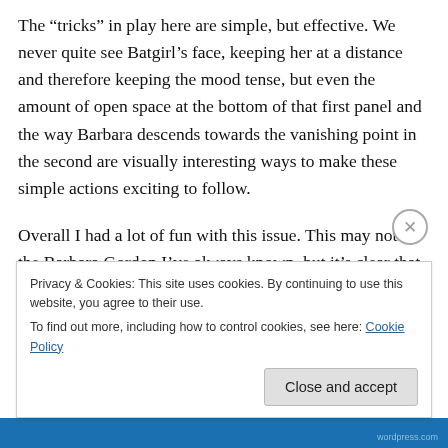The “tricks” in play here are simple, but effective. We never quite see Batgirl’s face, keeping her at a distance and therefore keeping the mood tense, but even the amount of open space at the bottom of that first panel and the way Barbara descends towards the vanishing point in the second are visually interesting ways to make these simple actions exciting to follow.
Overall I had a lot of fun with this issue. This may not be the Barbara Gordon I’ve always known, but it’s clear that Fletcher, Stewart and Tarr have a plan for the character
Privacy & Cookies: This site uses cookies. By continuing to use this website, you agree to their use.
To find out more, including how to control cookies, see here: Cookie Policy
Close and accept